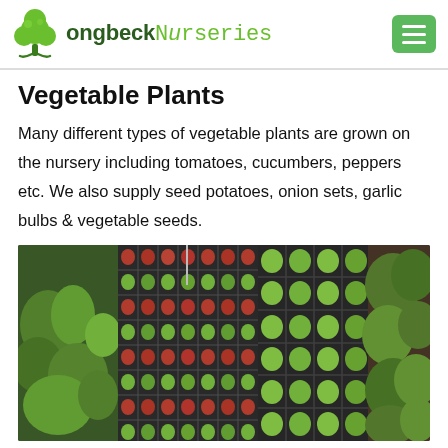LongbeckNurseries
Vegetable Plants
Many different types of vegetable plants are grown on the nursery including tomatoes, cucumbers, peppers etc. We also supply seed potatoes, onion sets, garlic bulbs & vegetable seeds.
[Figure (photo): Overhead view of nursery trays filled with rows of small vegetable seedlings and potted plants in a greenhouse setting.]